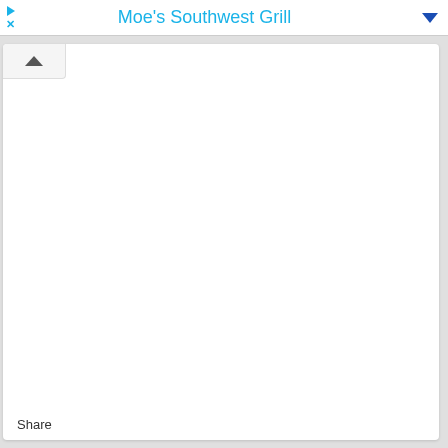Moe's Southwest Grill
[Figure (screenshot): Mobile app UI panel showing a collapsed card with a chevron-up button at top left, mostly white empty content area, and a Share text link at the bottom left.]
Share